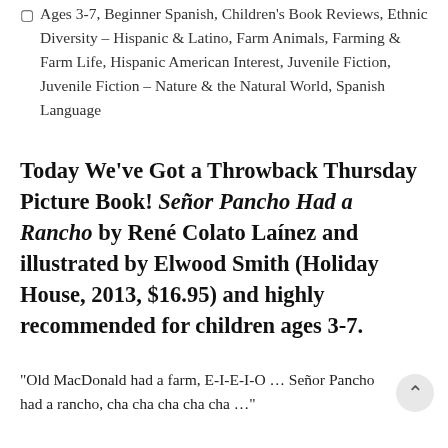Ages 3-7, Beginner Spanish, Children's Book Reviews, Ethnic Diversity - Hispanic & Latino, Farm Animals, Farming & Farm Life, Hispanic American Interest, Juvenile Fiction, Juvenile Fiction - Nature & the Natural World, Spanish Language
Today We've Got a Throwback Thursday Picture Book! Señor Pancho Had a Rancho by René Colato Laínez and illustrated by Elwood Smith (Holiday House, 2013, $16.95) and highly recommended for children ages 3-7.
“Old MacDonald had a farm, E-I-E-I-O … Señor Pancho had a rancho, cha cha cha cha cha …”